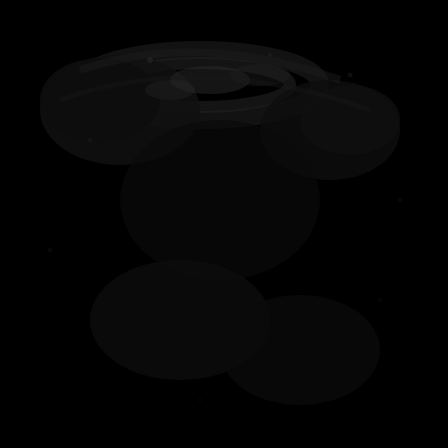[Figure (photo): A dark scientific or astronomical image on a black background, showing faint structures or patterns barely visible against the deep black field. The image appears to be a high-contrast photograph or scan, possibly of a biological specimen, astronomical object, or scientific sample, with subtle gray-toned features visible in the upper-center region and scattered lighter areas across the predominantly black frame.]